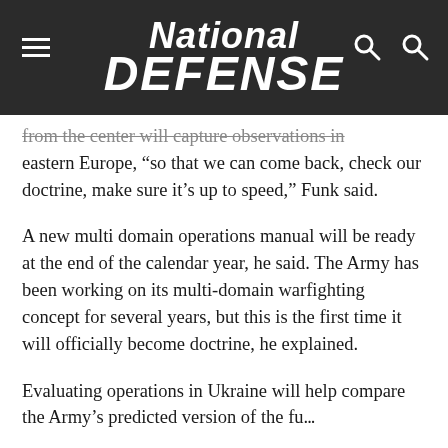National Defense
from the center will capture observations in eastern Europe, “so that we can come back, check our doctrine, make sure it's up to speed,” Funk said.
A new multi domain operations manual will be ready at the end of the calendar year, he said. The Army has been working on its multi-domain warfighting concept for several years, but this is the first time it will officially become doctrine, he explained.
Evaluating operations in Ukraine will help compare the Army’s predicted version of the fu...